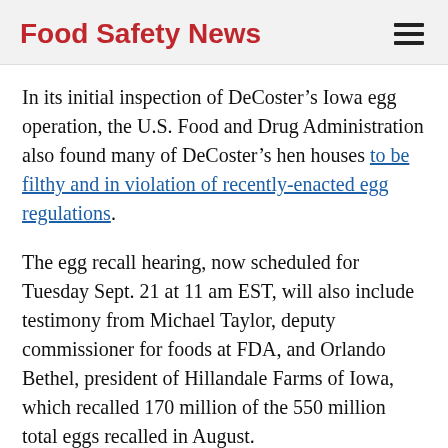Food Safety News
In its initial inspection of DeCoster’s Iowa egg operation, the U.S. Food and Drug Administration also found many of DeCoster’s hen houses to be filthy and in violation of recently-enacted egg regulations.
The egg recall hearing, now scheduled for Tuesday Sept. 21 at 11 am EST, will also include testimony from Michael Taylor, deputy commissioner for foods at FDA, and Orlando Bethel, president of Hillandale Farms of Iowa, which recalled 170 million of the 550 million total eggs recalled in August.
The FDA believes the Salmonella contamination at